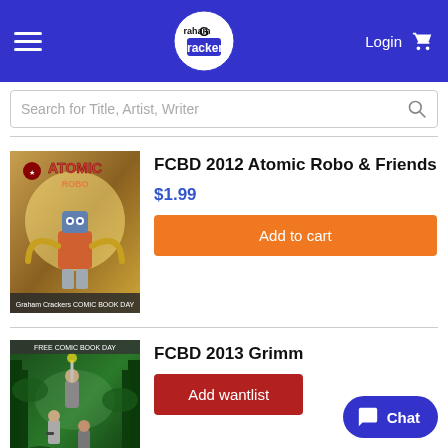Graham Crackers Comics — Login | Cart
Search for Title, Artist, Writer
FCBD 2012 Atomic Robo & Friends
$1.99
Add to cart
[Figure (photo): Comic book cover for FCBD 2012 Atomic Robo & Friends showing a robot character with tentacles and Graham Crackers Comic Book Day branding]
FCBD 2013 Grimm
Add wantlist
[Figure (photo): Comic book cover for FCBD 2013 Grimm showing fantasy/adventure scene with characters in a forest]